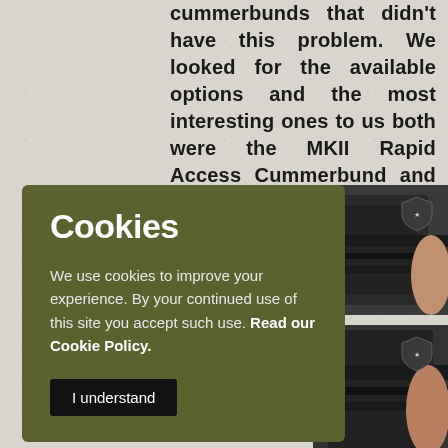So, our solution was to provide cummerbunds that didn't have this problem. We looked for the available options and the most interesting ones to us both were the MKII Rapid Access Cummerbund and the MKII Modular Cummerbund Slim.
[Figure (photo): Two photos of tactical cummerbunds/vests with military shield logos visible, plus partial photo at bottom showing tactical gear in olive/tan colors.]
Cookies
We use cookies to improve your experience. By your continued use of this site you accept such use. Read our Cookie Policy.
I understand